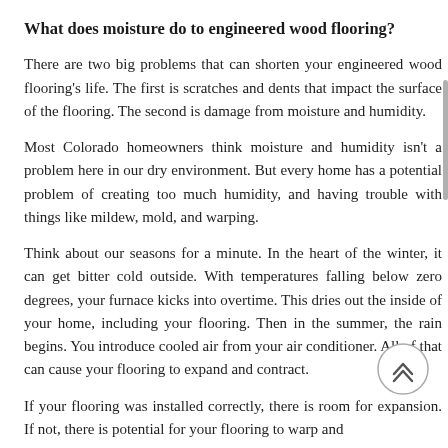What does moisture do to engineered wood flooring?
There are two big problems that can shorten your engineered wood flooring's life. The first is scratches and dents that impact the surface of the flooring. The second is damage from moisture and humidity.
Most Colorado homeowners think moisture and humidity isn't a problem here in our dry environment. But every home has a potential problem of creating too much humidity, and having trouble with things like mildew, mold, and warping.
Think about our seasons for a minute. In the heart of the winter, it can get bitter cold outside. With temperatures falling below zero degrees, your furnace kicks into overtime. This dries out the inside of your home, including your flooring. Then in the summer, the rain begins. You introduce cooled air from your air conditioner. All of that can cause your flooring to expand and contract.
If your flooring was installed correctly, there is room for expansion. If not, there is potential for your flooring to warp and